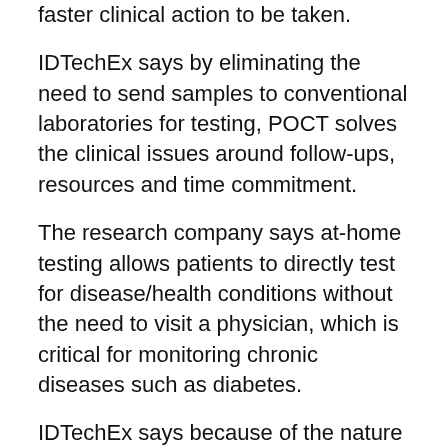faster clinical action to be taken.
IDTechEx says by eliminating the need to send samples to conventional laboratories for testing, POCT solves the clinical issues around follow-ups, resources and time commitment.
The research company says at-home testing allows patients to directly test for disease/health conditions without the need to visit a physician, which is critical for monitoring chronic diseases such as diabetes.
IDTechEx says because of the nature of POC biosensors, it's been a key booster on several fronts for the biosensor industry. Countries like the U.S. invested $1 billion in increasing the supply of at-home tests last year.
The report says healthcare spending currently makes up about 14% of world GDP. In developed economies, there are rising cases of chronic